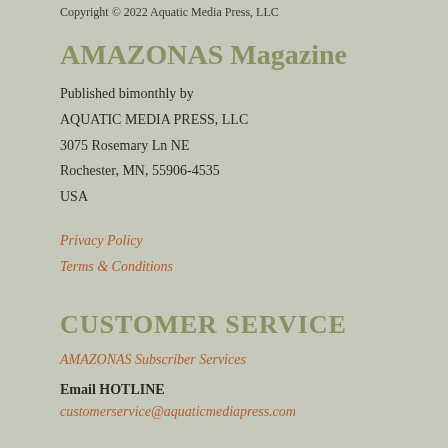Copyright © 2022 Aquatic Media Press, LLC
AMAZONAS Magazine
Published bimonthly by
AQUATIC MEDIA PRESS, LLC
3075 Rosemary Ln NE
Rochester, MN, 55906-4535
USA
Privacy Policy
Terms & Conditions
CUSTOMER SERVICE
AMAZONAS Subscriber Services
Email HOTLINE
customerservice@aquaticmediapress.com